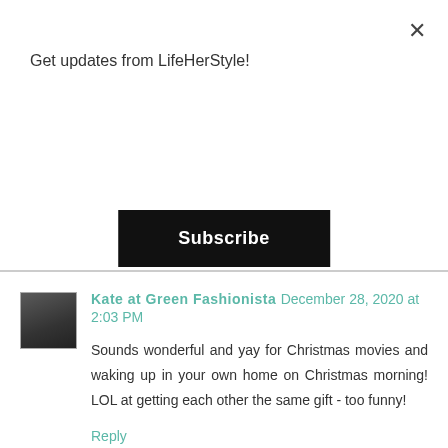Get updates from LifeHerStyle!
[Figure (screenshot): Subscribe button - black rectangular button with white bold text 'Subscribe']
Kate at Green Fashionista  December 28, 2020 at 2:03 PM
Sounds wonderful and yay for Christmas movies and waking up in your own home on Christmas morning! LOL at getting each other the same gift - too funny!
Reply
▼ Replies